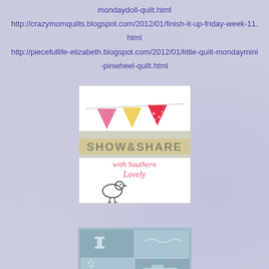mondaydoll-quilt.html
http://crazymomquilts.blogspot.com/2012/01/finish-it-up-friday-week-11.html
http://piecefullife-elizabeth.blogspot.com/2012/01/little-quilt-mondaymini-pinwheel-quilt.html
[Figure (illustration): Show & Share with Southern Lovely logo: colorful bunting pennants (pink, yellow, pink polka dot) on a string at top, a tan/beige banner with 'SHOW & SHARE' in block letters, cursive text 'with Southern Lovely' in red/pink, and a simple bird illustration.]
[Figure (logo): Sewing-themed logo with teal/blue-gray grid squares showing sewing machine, spool, needle, and thread motifs.]